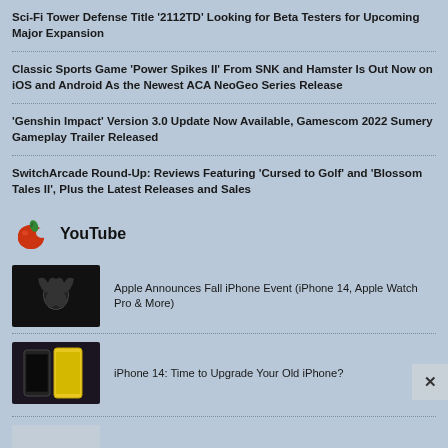Sci-Fi Tower Defense Title '2112TD' Looking for Beta Testers for Upcoming Major Expansion
Classic Sports Game 'Power Spikes II' From SNK and Hamster Is Out Now on iOS and Android As the Newest ACA NeoGeo Series Release
'Genshin Impact' Version 3.0 Update Now Available, Gamescom 2022 Sumery Gameplay Trailer Released
SwitchArcade Round-Up: Reviews Featuring 'Cursed to Golf' and 'Blossom Tales II', Plus the Latest Releases and Sales
YouTube
Apple Announces Fall iPhone Event (iPhone 14, Apple Watch Pro & More)
iPhone 14: Time to Upgrade Your Old iPhone?
Apple's Foldable iPhone (The MacRumors Show EP 19)